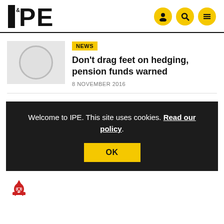IPE
[Figure (logo): IPE logo — bold black letters I, ampersand symbol, P, E]
[Figure (illustration): Article thumbnail placeholder — gray rectangle with light gray circle outline]
NEWS
Don't drag feet on hedging, pension funds warned
8 NOVEMBER 2016
Welcome to IPE. This site uses cookies. Read our policy.
OK
[Figure (logo): Red nuclear/recycle symbol icon at bottom left]